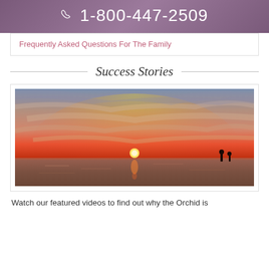1-800-447-2509
Frequently Asked Questions For The Family
Success Stories
[Figure (photo): Sunset over ocean with two silhouetted figures standing in the water, warm orange and red sky with clouds]
Watch our featured videos to find out why the Orchid is